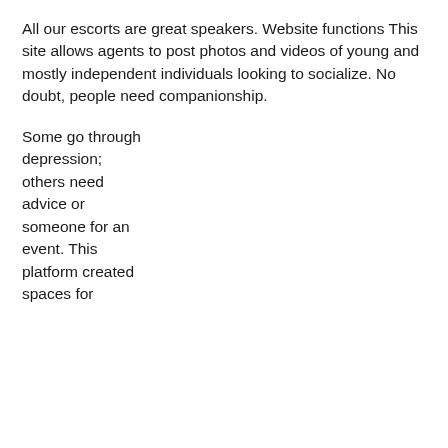All our escorts are great speakers. Website functions This site allows agents to post photos and videos of young and mostly independent individuals looking to socialize. No doubt, people need companionship.
Some go through depression; others need advice or someone for an event. This platform created spaces for